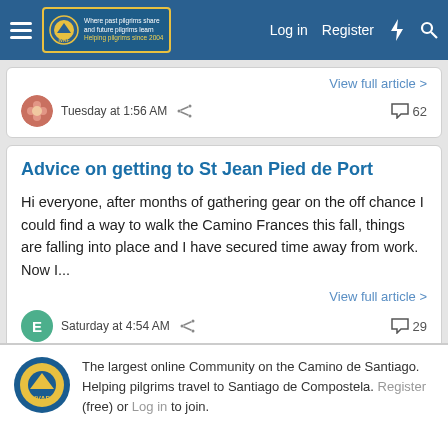Log in  Register
View full article >
Tuesday at 1:56 AM   62
Advice on getting to St Jean Pied de Port
Hi everyone, after months of gathering gear on the off chance I could find a way to walk the Camino Frances this fall, things are falling into place and I have secured time away from work. Now I...
View full article >
Saturday at 4:54 AM   29
Specific transit question about Madrid airport
The largest online Community on the Camino de Santiago. Helping pilgrims travel to Santiago de Compostela. Register (free) or Log in to join.